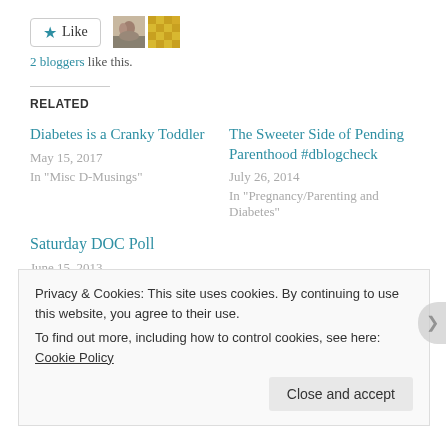[Figure (other): Like button with star icon and two blogger avatar thumbnails]
2 bloggers like this.
RELATED
Diabetes is a Cranky Toddler
May 15, 2017
In "Misc D-Musings"
The Sweeter Side of Pending Parenthood #dblogcheck
July 26, 2014
In "Pregnancy/Parenting and Diabetes"
Saturday DOC Poll
June 15, 2013
In "Great Idea!"
Privacy & Cookies: This site uses cookies. By continuing to use this website, you agree to their use.
To find out more, including how to control cookies, see here: Cookie Policy
Close and accept